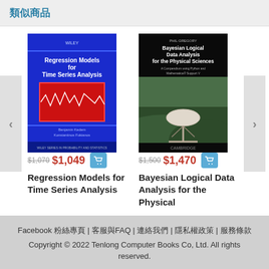類似商品
[Figure (photo): Book cover: Regression Models for Time Series Analysis, blue cover with red framed waveform graphic, publisher Wiley]
$1,070 $1,049 [cart]
Regression Models for Time Series Analysis
[Figure (photo): Book cover: Bayesian Logical Data Analysis for the Physical Sciences, dark cover with radio telescope image, Cambridge publisher]
$1,500 $1,470 [cart]
Bayesian Logical Data Analysis for the Physical
Facebook 粉絲專頁 | 客服與FAQ | 連絡我們 | 隱私權政策 | 服務條款 Copyright © 2022 Tenlong Computer Books Co, Ltd. All rights reserved.